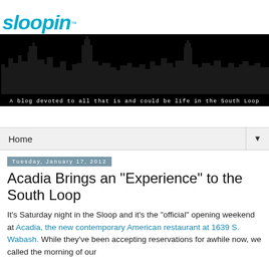[Figure (logo): Sloopin blog logo with italic cyan text and cityscape silhouette banner]
A blog devoted to all that is and could be life in the South Loop
Home
Tuesday, January 17, 2012
Acadia Brings an "Experience" to the South Loop
It's Saturday night in the Sloop and it's the "official" opening weekend at Acadia, the new contemporary American restaurant at 1639 S. Wabash. While they've been accepting reservations for awhile now, we called the morning of our